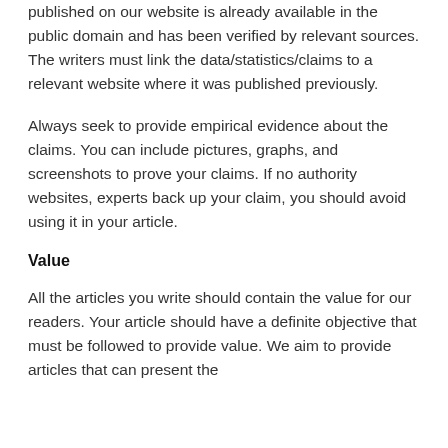published on our website is already available in the public domain and has been verified by relevant sources. The writers must link the data/statistics/claims to a relevant website where it was published previously.
Always seek to provide empirical evidence about the claims. You can include pictures, graphs, and screenshots to prove your claims. If no authority websites, experts back up your claim, you should avoid using it in your article.
Value
All the articles you write should contain the value for our readers. Your article should have a definite objective that must be followed to provide value. We aim to provide articles that can present the